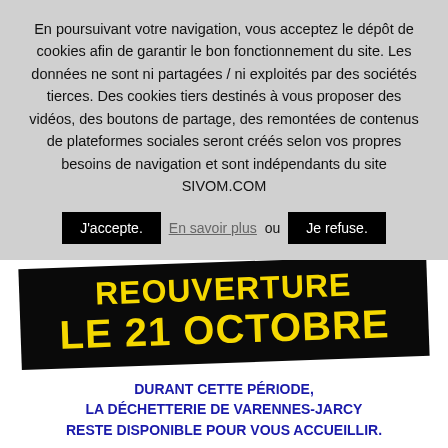En poursuivant votre navigation, vous acceptez le dépôt de cookies afin de garantir le bon fonctionnement du site. Les données ne sont ni partagées / ni exploités par des sociétés tierces. Des cookies tiers destinés à vous proposer des vidéos, des boutons de partage, des remontées de contenus de plateformes sociales seront créés selon vos propres besoins de navigation et sont indépendants du site SIVOM.COM
J'accepte. | En savoir plus ou Je refuse.
REOUVERTURE LE 21 OCTOBRE
DURANT CETTE PÉRIODE, LA DÉCHETTERIE DE VARENNES-JARCY RESTE DISPONIBLE POUR VOUS ACCUEILLIR.
NOUS VOUS REMERCIONS DE VOTRE COMPRÉHENSION, LA DIRECTION.